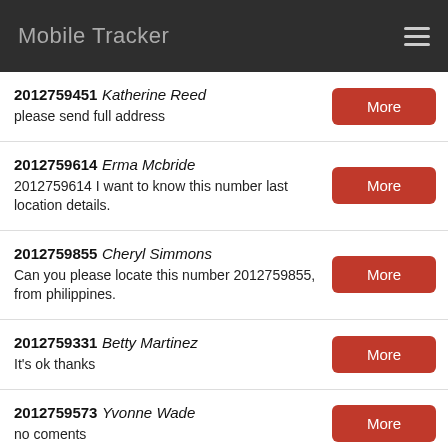Mobile Tracker
2012759451 Katherine Reed
please send full address
2012759614 Erma Mcbride
2012759614 I want to know this number last location details.
2012759855 Cheryl Simmons
Can you please locate this number 2012759855, from philippines.
2012759331 Betty Martinez
It's ok thanks
2012759573 Yvonne Wade
no coments